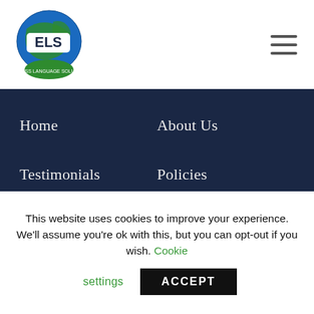[Figure (logo): ELS Express Language Solutions circular logo with globe and green speech bubble]
Home
About Us
Testimonials
Policies
FAQs
Blog
Contact Us
Private Sector
Sitemap
Voluntary Sector
This website uses cookies to improve your experience. We'll assume you're ok with this, but you can opt-out if you wish. Cookie settings ACCEPT